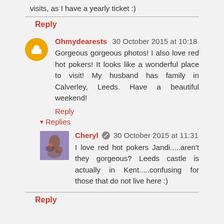visits, as I have a yearly ticket :)
Reply
Ohmydearests  30 October 2015 at 10:18
Gorgeous gorgeous photos! I also love red hot pokers! It looks like a wonderful place to visit! My husband has family in Calverley, Leeds. Have a beautiful weekend!
Reply
▾  Replies
Cheryl  30 October 2015 at 11:31
I love red hot pokers Jandi.....aren't they gorgeous? Leeds castle is actually in Kent.....confusing for those that do not live here :)
Reply